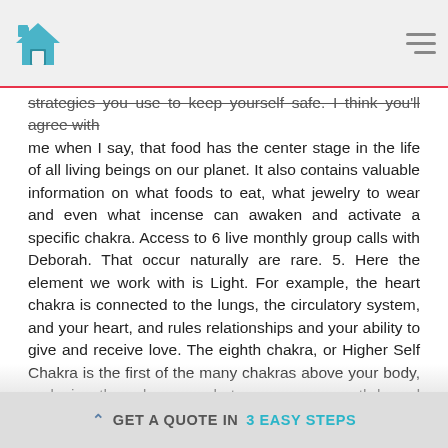[home icon] [hamburger menu]
strategies you use to keep yourself safe. I think you'll agree with me when I say, that food has the center stage in the life of all living beings on our planet. It also contains valuable information on what foods to eat, what jewelry to wear and even what incense can awaken and activate a specific chakra. Access to 6 live monthly group calls with Deborah. That occur naturally are rare. 5. Here the element we work with is Light. For example, the heart chakra is connected to the lungs, the circulatory system, and your heart, and rules relationships and your ability to give and receive love. The eighth chakra, or Higher Self Chakra is the first of the many chakras above your body, and is the doorway between your earth-bound personality and your soul. The great irony of modern life is that heaps of factual information can sometimes leave you feeling short of human information—understanding, insight, ..., Have you noticed that being outside lifts your spirits? Spending time in nature, being in direct sunlight, and drinking water can all benefit the crown chakra. Function: This Chakra represents the physical, root, survival, security, your base. Describing in detail, techniques that Dr. Minich has used successfully to assist her patients in rebalancing their chakra centers, overcome obstacles to health, regain energy... If one is
GET A QUOTE IN 3 EASY STEPS